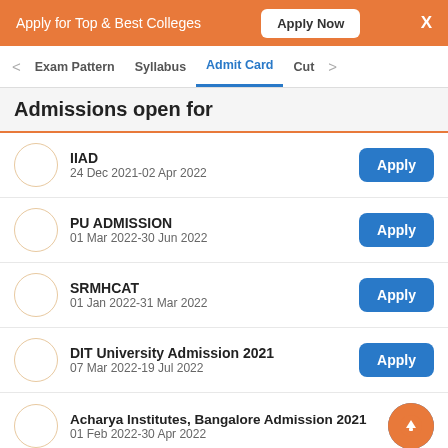Apply for Top & Best Colleges  Apply Now  X
Exam Pattern  Syllabus  Admit Card  Cut
Admissions open for
IIAD
24 Dec 2021-02 Apr 2022
Apply
PU ADMISSION
01 Mar 2022-30 Jun 2022
Apply
SRMHCAT
01 Jan 2022-31 Mar 2022
Apply
DIT University Admission 2021
07 Mar 2022-19 Jul 2022
Apply
Acharya Institutes, Bangalore Admission 2021
01 Feb 2022-30 Apr 2022